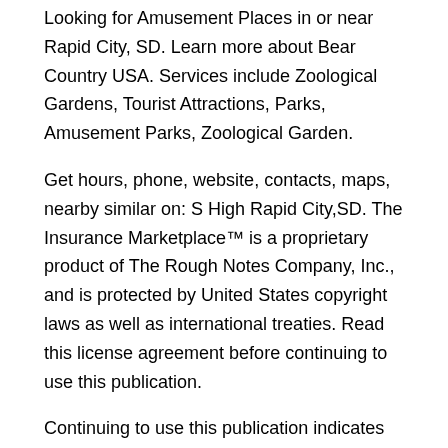Looking for Amusement Places in or near Rapid City, SD. Learn more about Bear Country USA. Services include Zoological Gardens, Tourist Attractions, Parks, Amusement Parks, Zoological Garden.
Get hours, phone, website, contacts, maps, nearby similar on: S High Rapid City,SD. The Insurance Marketplace™ is a proprietary product of The Rough Notes Company, Inc., and is protected by United States copyright laws as well as international treaties. Read this license agreement before continuing to use this publication.
Continuing to use this publication indicates your acceptance of the terms of this license agreement. is a premier job search website for Christian employment at ministry organizations, nonprofits and businesses.
Search for Christian employment opportunities in fields such as sales, accounting, teaching counseling, marketing and more. Acres Elkton, Brookings County, Pdf $, See more photos. Acres Elkton, Brookings County, SD. Brookings County Livestock Facility, Now Open for BidsLegal: South of E Except HWY in SE1/4 of Sec Parnell Twp, Brookings County. Location: Glacial Lakes & Prairies Region.